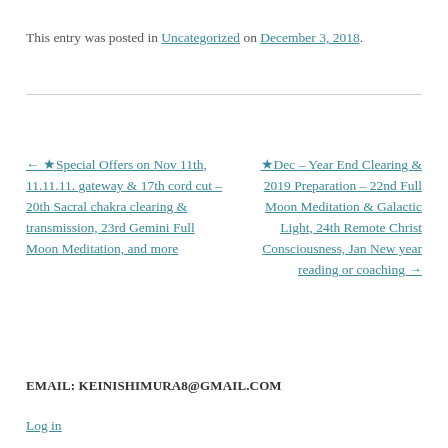This entry was posted in Uncategorized on December 3, 2018.
← ★Special Offers on Nov 11th, 11.11.11. gateway & 17th cord cut – 20th Sacral chakra clearing & transmission, 23rd Gemini Full Moon Meditation, and more
★Dec – Year End Clearing & 2019 Preparation – 22nd Full Moon Meditation & Galactic Light, 24th Remote Christ Consciousness, Jan New year reading or coaching →
EMAIL: KEINISHIMURA8@GMAIL.COM
Log in